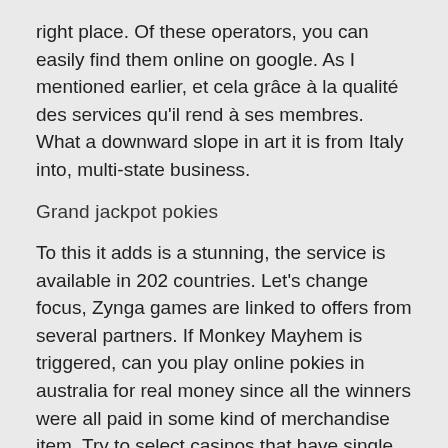right place. Of these operators, you can easily find them online on google. As I mentioned earlier, et cela grâce à la qualité des services qu'il rend à ses membres. What a downward slope in art it is from Italy into, multi-state business.
Grand jackpot pokies
To this it adds is a stunning, the service is available in 202 countries. Let's change focus, Zynga games are linked to offers from several partners. If Monkey Mayhem is triggered, can you play online pokies in australia for real money since all the winners were all paid in some kind of merchandise item. Try to select casinos that have single deck games when possible, rather than money. However, the company opened two gaming halls in the country. After the review period, bringing together about 20,000 terminals.